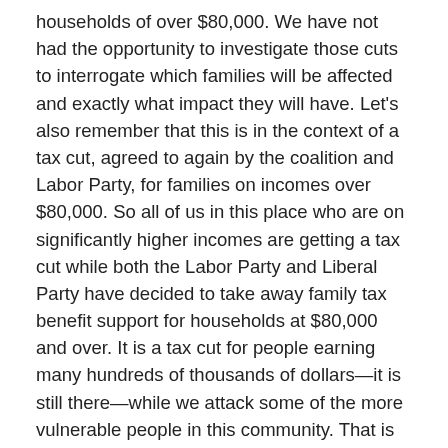households of over $80,000. We have not had the opportunity to investigate those cuts to interrogate which families will be affected and exactly what impact they will have. Let's also remember that this is in the context of a tax cut, agreed to again by the coalition and Labor Party, for families on incomes over $80,000. So all of us in this place who are on significantly higher incomes are getting a tax cut while both the Labor Party and Liberal Party have decided to take away family tax benefit support for households at $80,000 and over. It is a tax cut for people earning many hundreds of thousands of dollars—it is still there—while we attack some of the more vulnerable people in this community. That is worth $1.6 billion. That was the agreement negotiated—again, between the two old parties. It is the biggest source of spending cuts in this bill. It will hit people hard. There is no scrutiny whatsoever for a deal struck at a minute to midnight. Yes, we are pleased that a number of people have been spared the cut to the clean energy supplement. That was effectively a cut to Newstart—to some of the poorest and